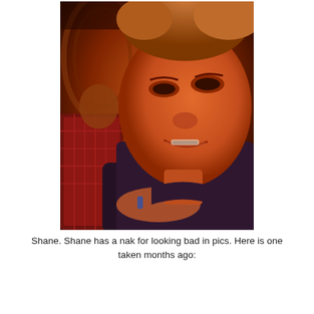[Figure (photo): A young man with short blond hair smiling/smirking in a dimly lit reddish-orange environment. Another person in a red plaid shirt is visible in the background. The photo appears to be a selfie-style close-up taken in a dark venue.]
Shane.  Shane has a nak for looking bad in pics.  Here is one taken months ago: